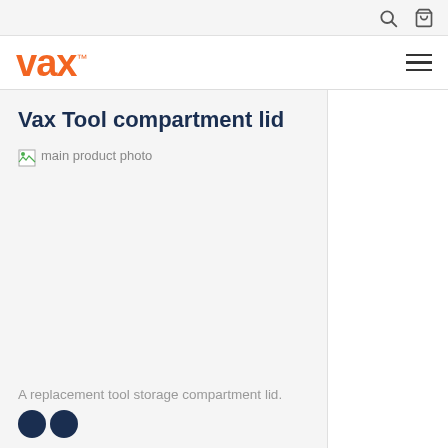Vax (logo) — navigation with search and cart icons
Vax Tool compartment lid
[Figure (photo): Main product photo placeholder (broken image icon with alt text 'main product photo')]
A replacement tool storage compartment lid.